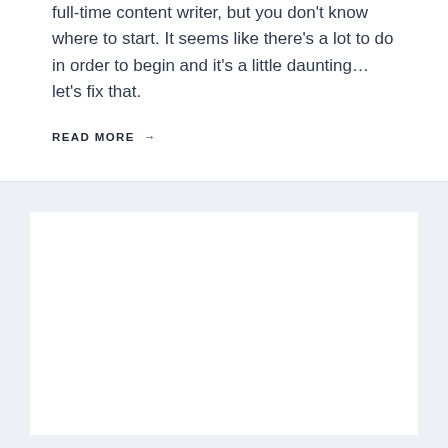full-time content writer, but you don't know where to start. It seems like there's a lot to do in order to begin and it's a little daunting…let's fix that.
READ MORE →